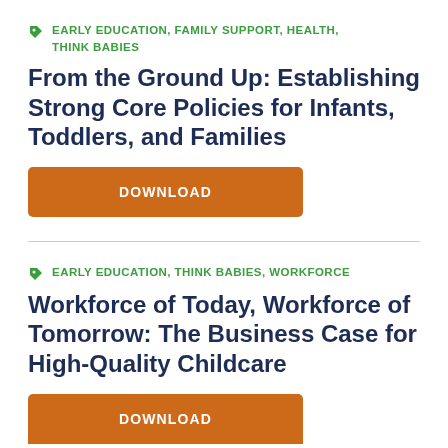EARLY EDUCATION, FAMILY SUPPORT, HEALTH, THINK BABIES
From the Ground Up: Establishing Strong Core Policies for Infants, Toddlers, and Families
DOWNLOAD
EARLY EDUCATION, THINK BABIES, WORKFORCE
Workforce of Today, Workforce of Tomorrow: The Business Case for High-Quality Childcare
DOWNLOAD